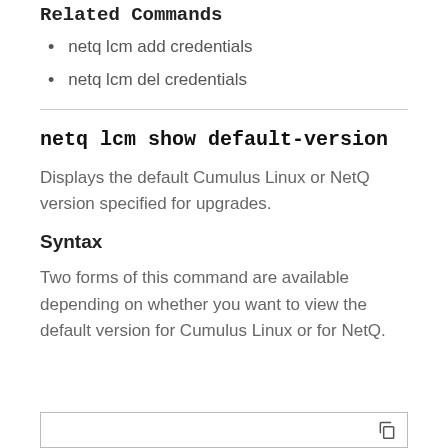Related Commands
netq lcm add credentials
netq lcm del credentials
netq lcm show default-version
Displays the default Cumulus Linux or NetQ version specified for upgrades.
Syntax
Two forms of this command are available depending on whether you want to view the default version for Cumulus Linux or for NetQ.
[Figure (other): Code block box at bottom of page with copy icon]